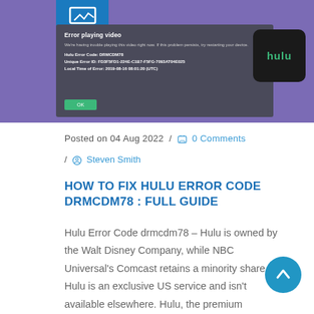[Figure (screenshot): Hulu error dialog screenshot showing error code DRMCDM78 on a purple/dark background with Hulu logo]
Posted on 04 Aug 2022 / 0 Comments
/ Steven Smith
HOW TO FIX HULU ERROR CODE DRMCDM78 : FULL GUIDE
Hulu Error Code drmcdm78 – Hulu is owned by the Walt Disney Company, while NBC Universal's Comcast retains a minority share. Hulu is an exclusive US service and isn't available elsewhere. Hulu, the premium streaming service, is